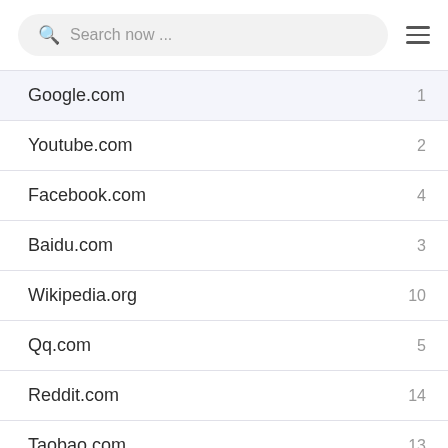Search now ...
| Site | Rank |
| --- | --- |
| Google.com | 1 |
| Youtube.com | 2 |
| Facebook.com | 4 |
| Baidu.com | 3 |
| Wikipedia.org | 10 |
| Qq.com | 5 |
| Reddit.com | 14 |
| Taobao.com | 13 |
| Yahoo.com | 6 |
| Amazon.com | 9 |